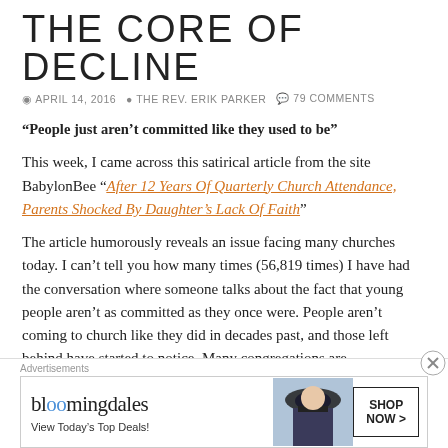THE CORE OF DECLINE
APRIL 14, 2016   THE REV. ERIK PARKER   79 COMMENTS
“People just aren’t committed like they used to be”
This week, I came across this satirical article from the site BabylonBee “After 12 Years Of Quarterly Church Attendance, Parents Shocked By Daughter’s Lack Of Faith”
The article humorously reveals an issue facing many churches today. I can’t tell you how many times (56,819 times) I have had the conversation where someone talks about the fact that young people aren’t as committed as they once were. People aren’t coming to church like they did in decades past, and those left behind have started to notice. Many congregations are
[Figure (other): Bloomingdales advertisement banner with logo, 'View Today's Top Deals!' text, woman in hat photo, and SHOP NOW button]